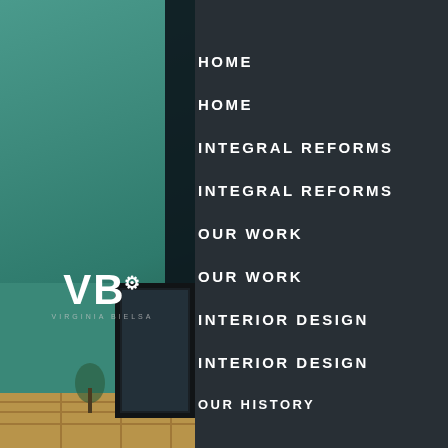[Figure (photo): Interior design website screenshot showing a teal-colored room on the left and a dark navigation menu on the right with VB logo]
HOME
HOME
INTEGRAL REFORMS
INTEGRAL REFORMS
OUR WORK
OUR WORK
INTERIOR DESIGN
INTERIOR DESIGN
OUR HISTORY